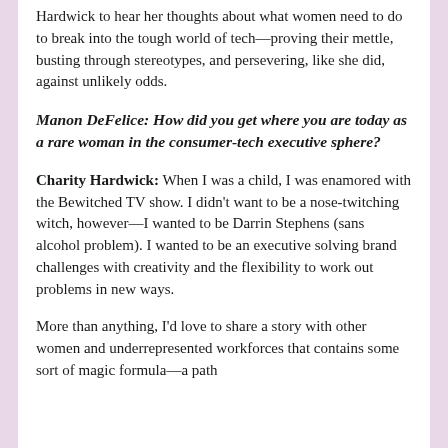Hardwick to hear her thoughts about what women need to do to break into the tough world of tech—proving their mettle, busting through stereotypes, and persevering, like she did, against unlikely odds.
Manon DeFelice: How did you get where you are today as a rare woman in the consumer-tech executive sphere?
Charity Hardwick: When I was a child, I was enamored with the Bewitched TV show. I didn't want to be a nose-twitching witch, however—I wanted to be Darrin Stephens (sans alcohol problem). I wanted to be an executive solving brand challenges with creativity and the flexibility to work out problems in new ways.
More than anything, I'd love to share a story with other women and underrepresented workforces that contains some sort of magic formula—a path